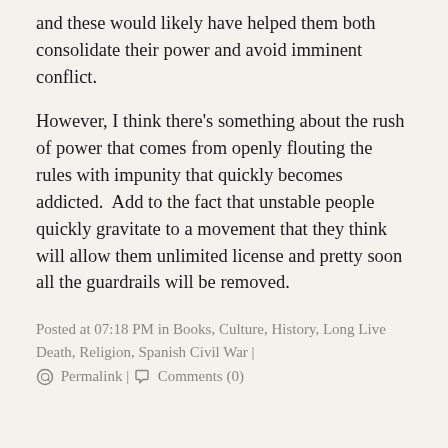and these would likely have helped them both consolidate their power and avoid imminent conflict.
However, I think there's something about the rush of power that comes from openly flouting the rules with impunity that quickly becomes addicted.  Add to the fact that unstable people quickly gravitate to a movement that they think will allow them unlimited license and pretty soon all the guardrails will be removed.
Posted at 07:18 PM in Books, Culture, History, Long Live Death, Religion, Spanish Civil War | Permalink | Comments (0)